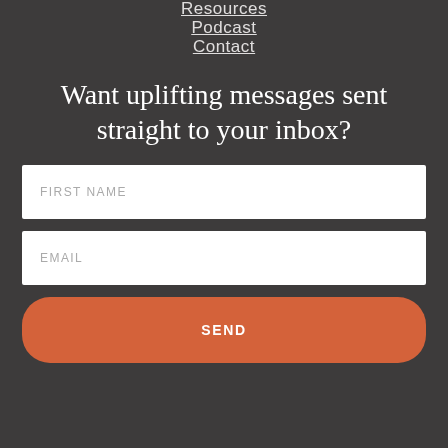Resources
Podcast
Contact
Want uplifting messages sent straight to your inbox?
FIRST NAME
EMAIL
SEND